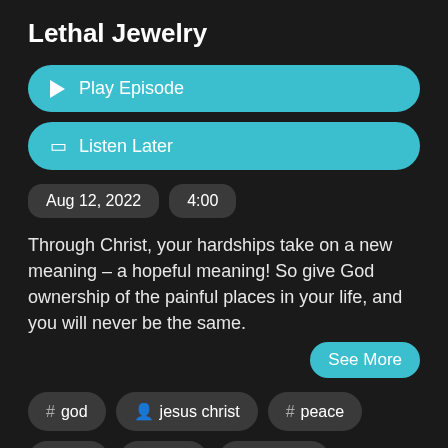Lethal Jewelry
Play Episode
Listen Later
Aug 12, 2022
4:00
Through Christ, your hardships take on a new meaning – a hopeful meaning! So give God ownership of the painful places in your life, and you will never be the same.
See More
# god
jesus christ
# peace
# pain
# cross
# suffering